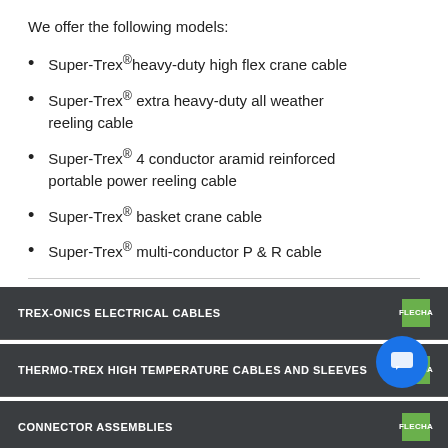We offer the following models:
Super-Trex® heavy-duty high flex crane cable
Super-Trex® extra heavy-duty all weather reeling cable
Super-Trex® 4 conductor aramid reinforced portable power reeling cable
Super-Trex® basket crane cable
Super-Trex® multi-conductor P & R cable
TREX-ONICS ELECTRICAL CABLES
THERMO-TREX HIGH TEMPERATURE CABLES AND SLEEVES
CONNECTOR ASSEMBLIES